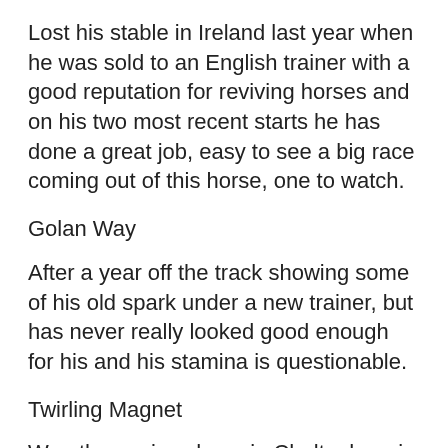Lost his stable in Ireland last year when he was sold to an English trainer with a good reputation for reviving horses and on his two most recent starts he has done a great job, easy to see a big race coming out of this horse, one to watch.
Golan Way
After a year off the track showing some of his old spark under a new trainer, but has never really looked good enough for his and his stamina is questionable.
Twirling Magnet
Won the novice chase in Cheltenham in October but has been left with egg on his face in a couple of good handicaps since then. Would do well on a faster surface but could pull it out of the bag.